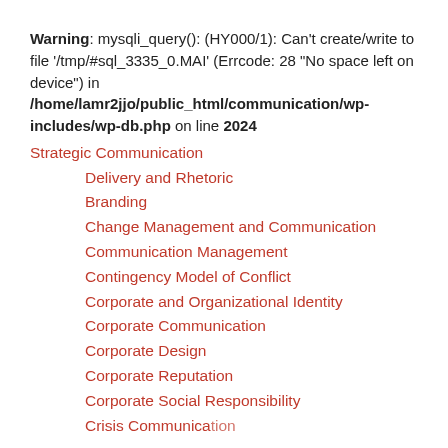Warning: mysqli_query(): (HY000/1): Can't create/write to file '/tmp/#sql_3335_0.MAI' (Errcode: 28 "No space left on device") in /home/lamr2jjo/public_html/communication/wp-includes/wp-db.php on line 2024
Strategic Communication
Delivery and Rhetoric
Branding
Change Management and Communication
Communication Management
Contingency Model of Conflict
Corporate and Organizational Identity
Corporate Communication
Corporate Design
Corporate Reputation
Corporate Social Responsibility
Crisis Communication